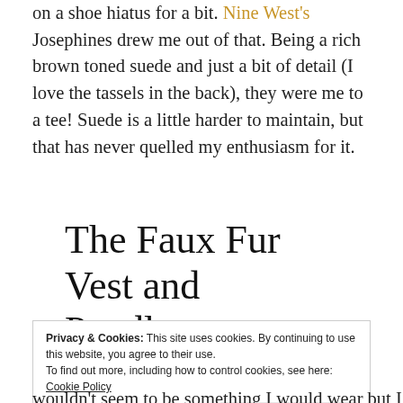on a shoe hiatus for a bit. Nine West's Josephines drew me out of that. Being a rich brown toned suede and just a bit of detail (I love the tassels in the back), they were me to a tee! Suede is a little harder to maintain, but that has never quelled my enthusiasm for it.
The Faux Fur Vest and Pendleton Turtleneck
Privacy & Cookies: This site uses cookies. By continuing to use this website, you agree to their use. To find out more, including how to control cookies, see here: Cookie Policy
wouldn't seem to be something I would wear but I